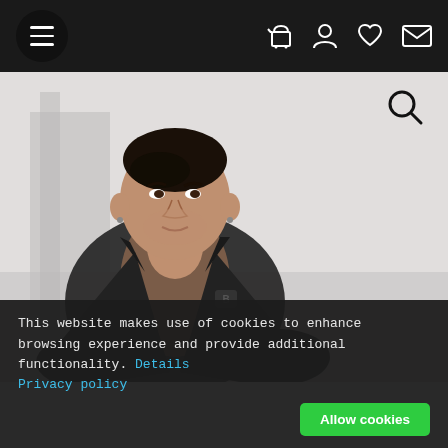Navigation bar with hamburger menu and icons: cart, user, heart, mail
[Figure (photo): A young man with dark hair wearing an open black leather short-sleeve shirt, photographed outdoors with a blurred architectural background.]
This website makes use of cookies to enhance browsing experience and provide additional functionality. Details Privacy policy
Allow cookies